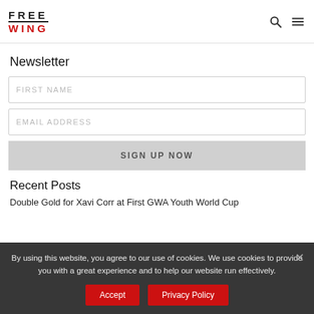FREE WING
Newsletter
FIRST NAME
EMAIL ADDRESS
SIGN UP NOW
Recent Posts
Double Gold for Xavi Corr at First GWA Youth World Cup
By using this website, you agree to our use of cookies. We use cookies to provide you with a great experience and to help our website run effectively.